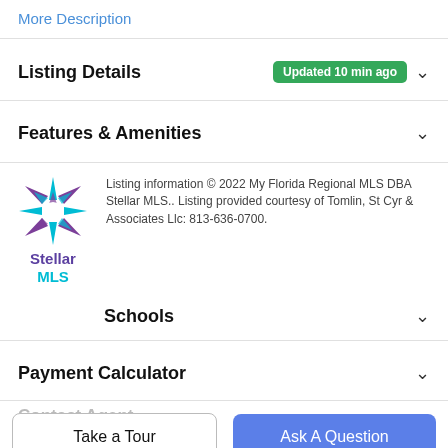More Description
Listing Details  Updated 10 min ago
Features & Amenities
Listing information © 2022 My Florida Regional MLS DBA Stellar MLS.. Listing provided courtesy of Tomlin, St Cyr & Associates Llc: 813-636-0700.
Schools
Payment Calculator
Contact Agent
Take a Tour
Ask A Question